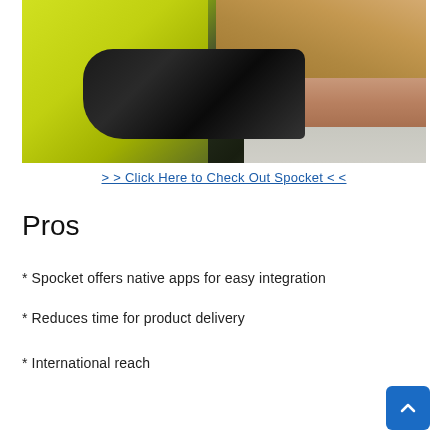[Figure (photo): A bicycle courier in a yellow high-visibility vest receiving or handing over a cardboard package. Bike handlebars visible in the foreground. Sidewalk in background.]
> > Click Here to Check Out Spocket < <
Pros
* Spocket offers native apps for easy integration
* Reduces time for product delivery
* International reach